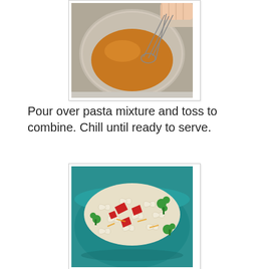[Figure (photo): A glass bowl with orange/amber colored dressing or sauce being whisked with a metal whisk, hands visible at top]
Pour over pasta mixture and toss to combine. Chill until ready to serve.
[Figure (photo): A teal/turquoise bowl filled with bowtie pasta salad containing red bell peppers, broccoli, asparagus, and other vegetables]